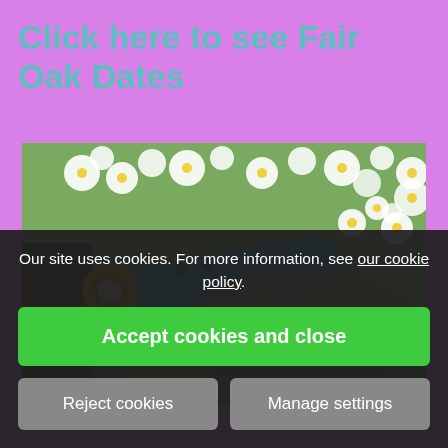Click here to see Fair Oak Dates
[Figure (photo): Photo of a colorful kaleidoscope toy (orange and teal) lying among white flowers and various items at what appears to be a market stall or fair]
Our site uses cookies. For more information, see our cookie policy.
Accept cookies and close
Reject cookies
Manage settings